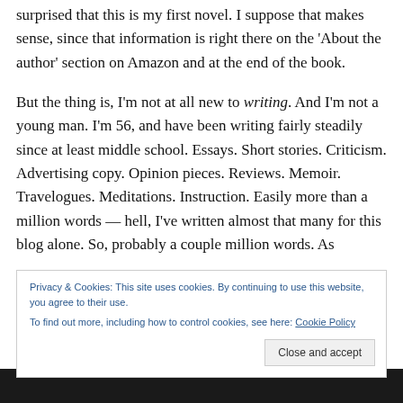surprised that this is my first novel. I suppose that makes sense, since that information is right there on the ‘About the author’ section on Amazon and at the end of the book.
But the thing is, I’m not at all new to writing. And I’m not a young man. I’m 56, and have been writing fairly steadily since at least middle school. Essays. Short stories. Criticism. Advertising copy. Opinion pieces. Reviews. Memoir. Travelogues. Meditations. Instruction. Easily more than a million words — hell, I’ve written almost that many for this blog alone. So, probably a couple million words. As
Privacy & Cookies: This site uses cookies. By continuing to use this website, you agree to their use.
To find out more, including how to control cookies, see here: Cookie Policy
Close and accept